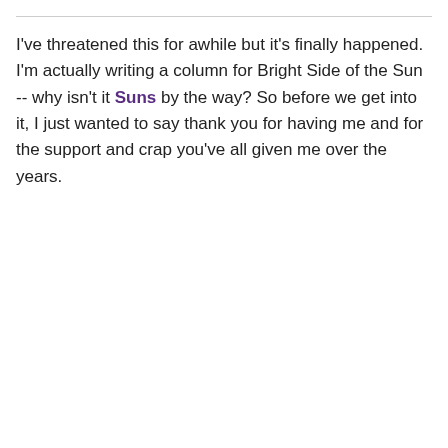I've threatened this for awhile but it's finally happened. I'm actually writing a column for Bright Side of the Sun -- why isn't it Suns by the way? So before we get into it, I just wanted to say thank you for having me and for the support and crap you've all given me over the years.